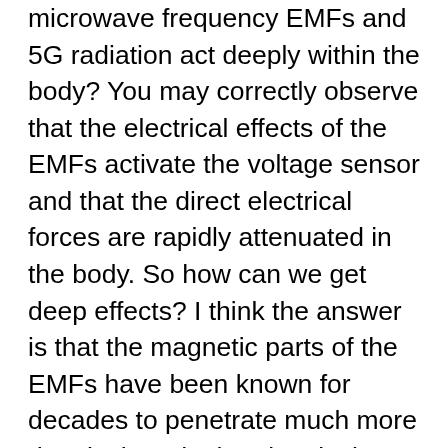microwave frequency EMFs and 5G radiation act deeply within the body? You may correctly observe that the electrical effects of the EMFs activate the voltage sensor and that the direct electrical forces are rapidly attenuated in the body. So how can we get deep effects? I think the answer is that the magnetic parts of the EMFs have been known for decades to penetrate much more deeply than do the electrical parts. The magnetic fields put forces on mobile electrically charged groups dissolved in the aqueous phases of the body and small individual movements of the charged groups can regenerate electric fields that are essentially identical to the electric fields of the original EMFs,